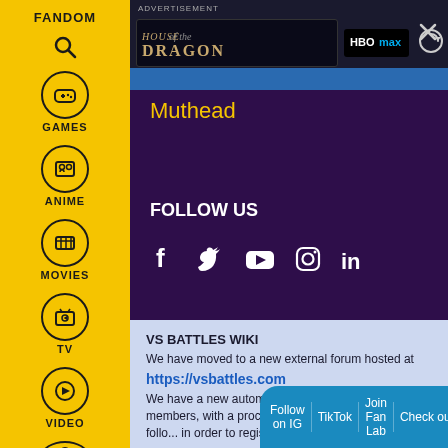[Figure (screenshot): Fandom sidebar with yellow background showing logo, FANDOM label, search icon, and navigation icons for GAMES, ANIME, MOVIES, TV, VIDEO, and user profile]
[Figure (screenshot): Advertisement banner for House of the Dragon on HBO Max with dark background]
Muthead
FOLLOW US
[Figure (infographic): Social media icons for Facebook, Twitter, YouTube, Instagram, and LinkedIn in white on dark purple background]
VS BATTLES WIKI
We have moved to a new external forum hosted at https://vsbattles.com We have a new automated signup system for our wiki members, with a procedure that must be exactly followed in order to register.
Follow on IG | TikTok | Join Fan Lab | Check out Fandom Quizzes and cha